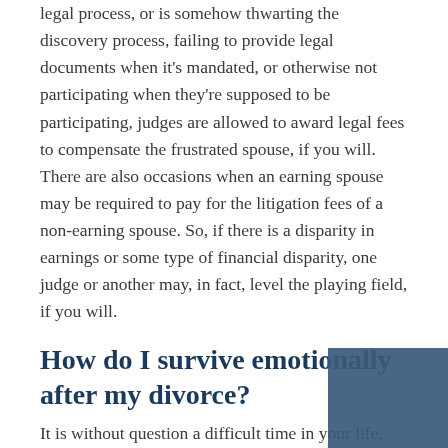legal process, or is somehow thwarting the discovery process, failing to provide legal documents when it's mandated, or otherwise not participating when they're supposed to be participating, judges are allowed to award legal fees to compensate the frustrated spouse, if you will. There are also occasions when an earning spouse may be required to pay for the litigation fees of a non-earning spouse. So, if there is a disparity in earnings or some type of financial disparity, one judge or another may, in fact, level the playing field, if you will.
How do I survive emotionally after my divorce?
It is without question a difficult time in your life, dealing with separation and the end of your marriage. It is completely natural to go through a grieving process and need time to adjust. It can also be emotionally difficult for children during this process. Lean on your friends and family during this chaotic time, and if needed, seek the help and advice of a professional counselor or divorce